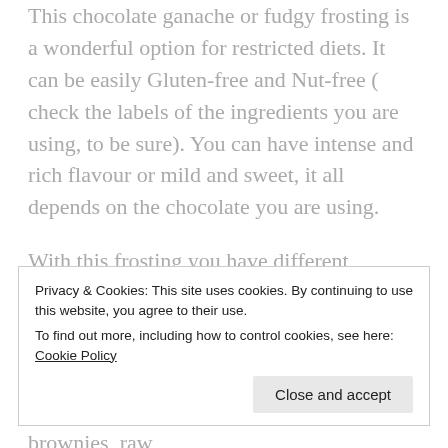This chocolate ganache or fudgy frosting is a wonderful option for restricted diets. It can be easily Gluten-free and Nut-free ( check the labels of the ingredients you are using, to be sure). You can have intense and rich flavour or mild and sweet, it all depends on the chocolate you are using.
With this frosting you have different options, you can pour the hot frosting as a glaze or cool the mixture off, which makes this frosting pipeable and spreadable.
This recipe is super easy, I use it for brownies, raw
Privacy & Cookies: This site uses cookies. By continuing to use this website, you agree to their use.
To find out more, including how to control cookies, see here: Cookie Policy